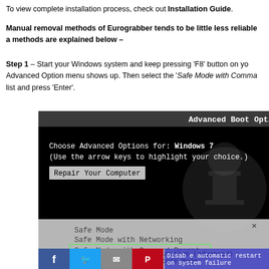To view complete installation process, check out Installation Guide.
Manual removal methods of Eurograbber tends to be little less reliable a methods are explained below –
Step 1 – Start your Windows system and keep pressing 'F8' button on yo Advanced Option menu shows up. Then select the 'Safe Mode with Comma list and press 'Enter'.
[Figure (screenshot): Windows Advanced Boot Options screen showing Safe Mode options including Safe Mode, Safe Mode with Networking, Safe Mode with Command Prompt (highlighted in green), Enable low-resolution video, Last Known Good Configuration, Directory Services Restore Mode, Debugging Mode, and Disable automatic restart on system failure. A watermark of a chess king piece logo is visible.]
Like this page? Share it with your friends!